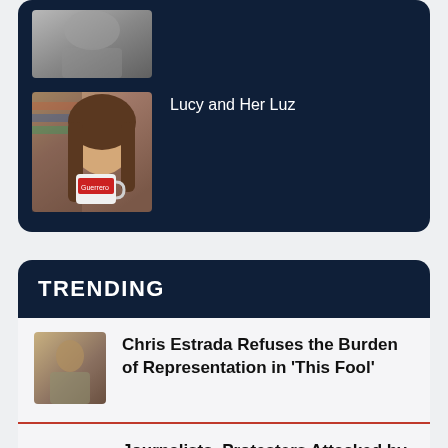[Figure (photo): Partial view of a person's face, grayscale, cropped at top]
[Figure (photo): Woman holding a mug with 'Guerrero' text, smiling, bookshelf background]
Lucy and Her Luz
TRENDING
[Figure (photo): Thumbnail image of Chris Estrada]
Chris Estrada Refuses the Burden of Representation in 'This Fool'
Journalists, Protesters Attacked by Police at LUMA Protest in Puerto Rico